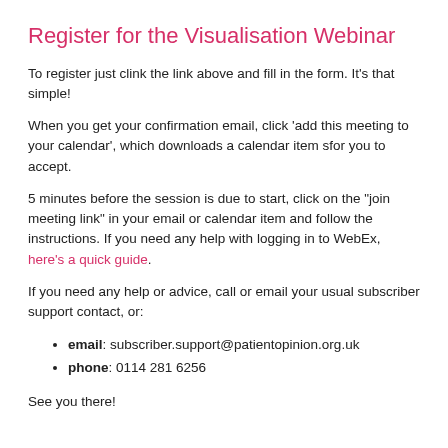Register for the Visualisation Webinar
To register just clink the link above and fill in the form. It's that simple!
When you get your confirmation email, click 'add this meeting to your calendar', which downloads a calendar item sfor you to accept.
5 minutes before the session is due to start, click on the "join meeting link" in your email or calendar item and follow the instructions. If you need any help with logging in to WebEx, here's a quick guide.
If you need any help or advice, call or email your usual subscriber support contact, or:
email: subscriber.support@patientopinion.org.uk
phone: 0114 281 6256
See you there!